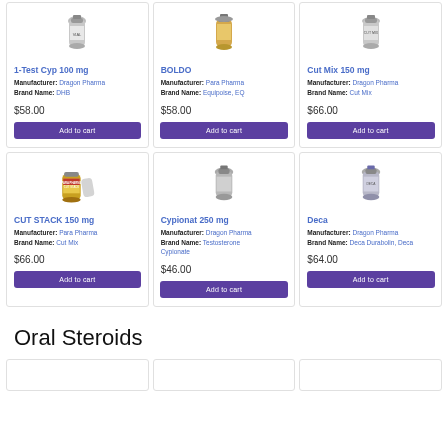[Figure (photo): Product card: 1-Test Cyp 100 mg vial]
1-Test Cyp 100 mg
Manufacturer: Dragon Pharma
Brand Name: DHB
$58.00
[Figure (photo): Product card: BOLDO vial]
BOLDO
Manufacturer: Para Pharma
Brand Name: Equipoise, EQ
$58.00
[Figure (photo): Product card: Cut Mix 150 mg vial]
Cut Mix 150 mg
Manufacturer: Dragon Pharma
Brand Name: Cut Mix
$66.00
[Figure (photo): Product card: CUT STACK 150 mg vial]
CUT STACK 150 mg
Manufacturer: Para Pharma
Brand Name: Cut Mix
$66.00
[Figure (photo): Product card: Cypionat 250 mg vial]
Cypionat 250 mg
Manufacturer: Dragon Pharma
Brand Name: Testosterone Cypionate
$46.00
[Figure (photo): Product card: Deca vial]
Deca
Manufacturer: Dragon Pharma
Brand Name: Deca Durabolin, Deca
$64.00
Oral Steroids